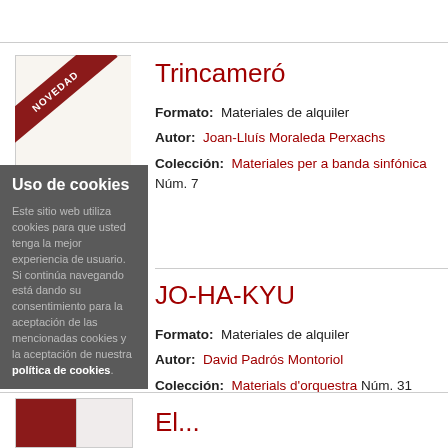[Figure (illustration): Book cover thumbnail for Trincameró with NOVEDAD ribbon banner in dark red]
Uso de cookies
Este sitio web utiliza cookies para que usted tenga la mejor experiencia de usuario. Si continúa navegando está dando su consentimiento para la aceptación de las mencionadas cookies y la aceptación de nuestra política de cookies.
Trincameró
Formato: Materiales de alquiler
Autor: Joan-Lluís Moraleda Perxachs
Colección: Materiales per a banda sinfónica Núm. 7
JO-HA-KYU
Formato: Materiales de alquiler
Autor: David Padrós Montoriol
Colección: Materials d'orquestra Núm. 31
[Figure (illustration): Partial book cover thumbnail at bottom with red section visible]